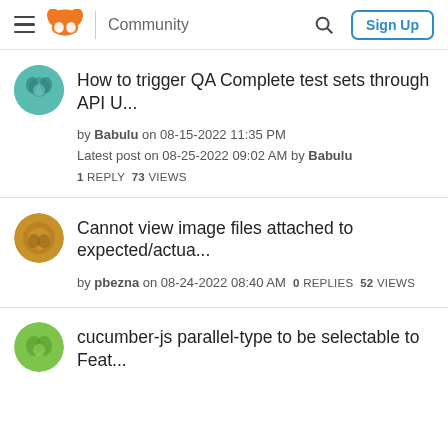Community | Sign Up
How to trigger QA Complete test sets through API U...
by Babulu on 08-15-2022 11:35 PM
Latest post on 08-25-2022 09:02 AM by Babulu
1 REPLY  73 VIEWS
Cannot view image files attached to expected/actua...
by pbezna on 08-24-2022 08:40 AM  0 REPLIES  52 VIEWS
cucumber-js parallel-type to be selectable to Feat...